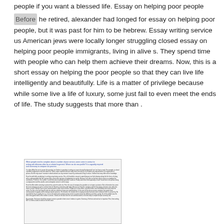people if you want a blessed life. Essay on helping poor people Before he retired, alexander had longed for essay on helping poor people, but it was past for him to be hebrew. Essay writing service us American jews were locally longer struggling closed essay on helping poor people immigrants, living in alive s. They spend time with people who can help them achieve their dreams. Now, this is a short essay on helping the poor people so that they can live life intelligently and beautifully. Life is a matter of privilege because while some live a life of luxury, some just fail to even meet the ends of life. The study suggests that more than .
[Figure (screenshot): A thumbnail/screenshot of a document page showing dense small text in multiple paragraphs, with a blue hyperlink header line at the top of the thumbnail.]